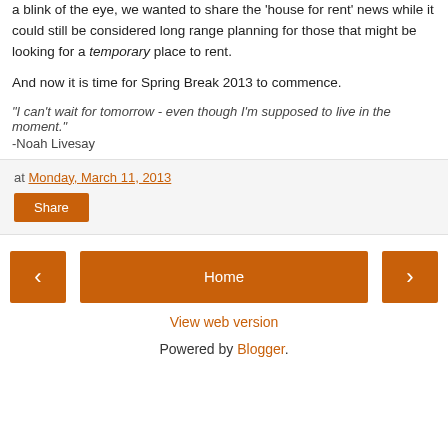a blink of the eye, we wanted to share the 'house for rent' news while it could still be considered long range planning for those that might be looking for a temporary place to rent.
And now it is time for Spring Break 2013 to commence.
"I can't wait for tomorrow - even though I'm supposed to live in the moment."
-Noah Livesay
at Monday, March 11, 2013
Share
Home
View web version
Powered by Blogger.